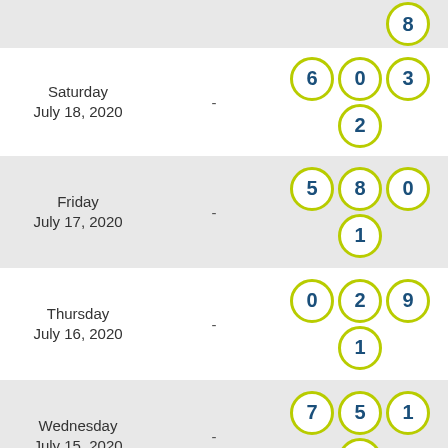[Figure (infographic): Lottery draw results for multiple dates showing numbered balls arranged in rows. Each entry shows day, date, a dash, and lottery numbers in circular balls.]
Saturday July 18, 2020 - 6 0 3 2
Friday July 17, 2020 - 5 8 0 1
Thursday July 16, 2020 - 0 2 9 1
Wednesday July 15, 2020 - 7 5 1 0